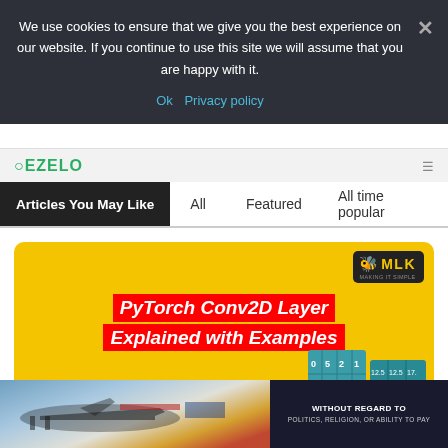We use cookies to ensure that we give you the best experience on our website. If you continue to use this site we will assume that you are happy with it.
Ok  Privacy policy
Articles You May Like
All   Featured   All time popular
[Figure (screenshot): Article thumbnail image for 'PyTorch Conv2D Layer Explained with Examples' on a yellow background with the PyTorch logo and a matrix grid visualization, with MLK (Making it Simple) badge in top-right corner]
[Figure (photo): Advertisement banner showing cargo planes with overlay text 'WITHOUT REGARD TO POLITICS, RELIGION, OR ABILITY TO PAY']